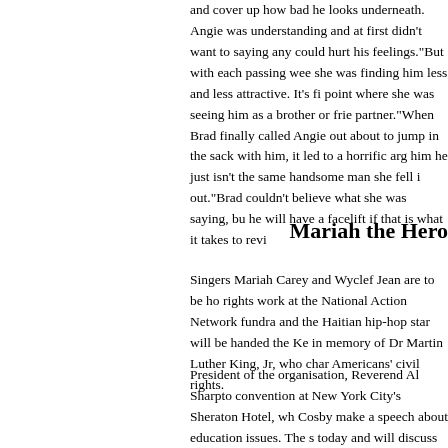and cover up how bad he looks underneath. Angie was understanding and at first didn't want to saying anything that could hurt his feelings."But with each passing week, she was finding him less and less attractive. It's fine to the point where she was seeing him as a brother or friend, not partner."When Brad finally called Angie out about not wanting to jump in the sack with him, it led to a horrific argument. She told him he just isn't the same handsome man she fell in love out."Brad couldn't believe what she was saying, but agreed he will have a facelift if that is what it takes to revi
Mariah the Hero
Singers Mariah Carey and Wyclef Jean are to be honoured for their rights work at the National Action Network fundraiser. Mariah and the Haitian hip-hop star will be handed the Keepers of the Dream in memory of Dr Martin Luther King, Jr, who championed African Americans' civil rights.
President of the organisation, Reverend Al Sharpton, is holding a convention at New York City's Sheraton Hotel, where he will see Bill Cosby make a speech about education issues. The summit kicks off today and will discuss racial inequality, civil rights PTI